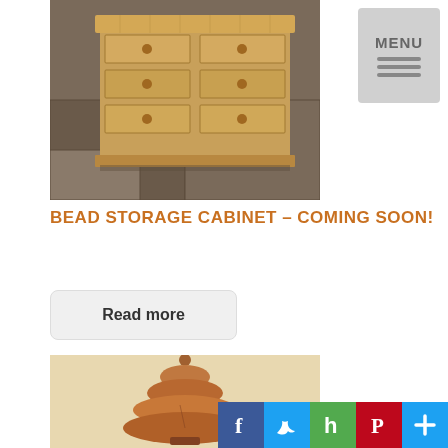[Figure (photo): A wooden bead storage cabinet with drawers, sitting on a dark floor, warm oak wood tones]
[Figure (other): MENU button with hamburger lines, light gray background]
BEAD STORAGE CABINET – COMING SOON!
Read more
[Figure (photo): A wooden carved Christmas tree sculpture in warm brown tones, sitting on a surface with a compass or decorative item nearby]
[Figure (infographic): Social media sharing bar with Facebook, Twitter, Houzz, Pinterest, and a plus/share button]